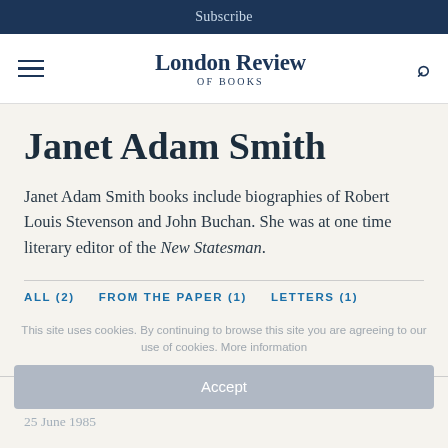Subscribe
London Review of Books
Janet Adam Smith
Janet Adam Smith books include biographies of Robert Louis Stevenson and John Buchan. She was at one time literary editor of the New Statesman.
ALL (2)
FROM THE PAPER (1)
LETTERS (1)
This site uses cookies. By continuing to browse this site you are agreeing to our use of cookies. More information
Accept
Irish Adventurers
25 June 1985